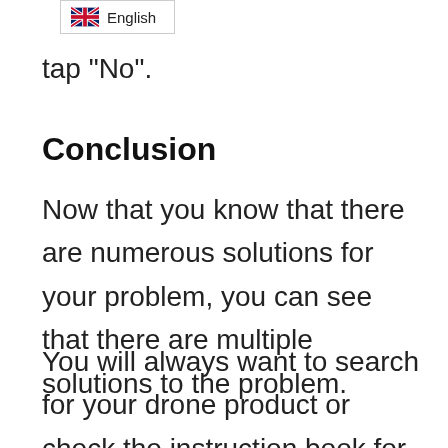English
tap "No".
Conclusion
Now that you know that there are numerous solutions for your problem, you can see that there are multiple solutions to the problem.
You will always want to search for your drone product or check the instruction book for solutions if the above ones do